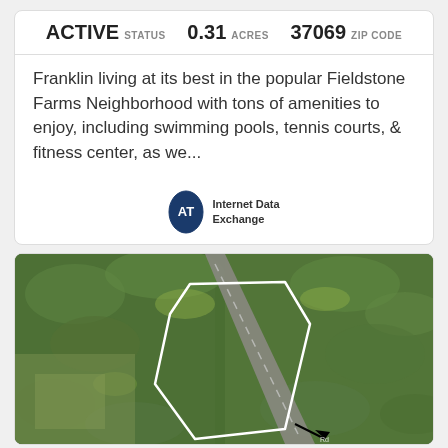| STATUS | ACRES | ZIP CODE |
| --- | --- | --- |
| ACTIVE | 0.31 | 37069 |
Franklin living at its best in the popular Fieldstone Farms Neighborhood with tons of amenities to enjoy, including swimming pools, tennis courts, & fitness center, as we...
[Figure (logo): Internet Data Exchange logo - oval shape with RT initials and text Internet Data Exchange]
[Figure (photo): Aerial drone photo of a forested area with a road/highway cutting through it diagonally. A white polygon outline marks a land parcel boundary overlaid on the trees. An arrow points toward the lower right.]